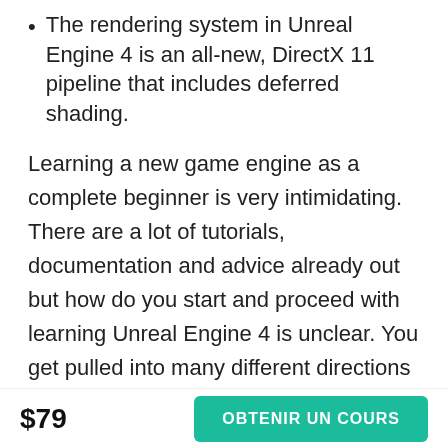The rendering system in Unreal Engine 4 is an all-new, DirectX 11 pipeline that includes deferred shading.
Learning a new game engine as a complete beginner is very intimidating. There are a lot of tutorials, documentation and advice already out but how do you start and proceed with learning Unreal Engine 4 is unclear. You get pulled into many different directions and end up confused and overwhelmed.
I have spent a lot of time deconstructing what it takes to learn a game engine from scratch. What it is that you should focus on first and what you should avoid
$79
OBTENIR UN COURS